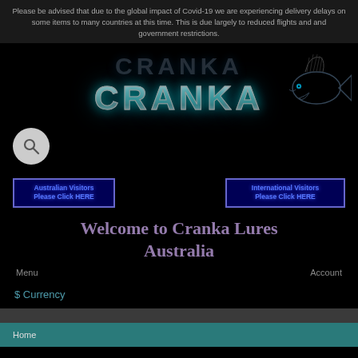Please be advised that due to the global impact of Covid-19 we are experiencing delivery delays on some items to many countries at this time. This is due largely to reduced flights and and government restrictions.
[Figure (logo): Cranka Cranka Lures Australia logo with stylized chrome metallic lettering and a fish illustration on black background]
Australian Visitors Please Click HERE
International Visitors Please Click HERE
Welcome to Cranka Lures Australia
Menu
Account
$ Currency
Home